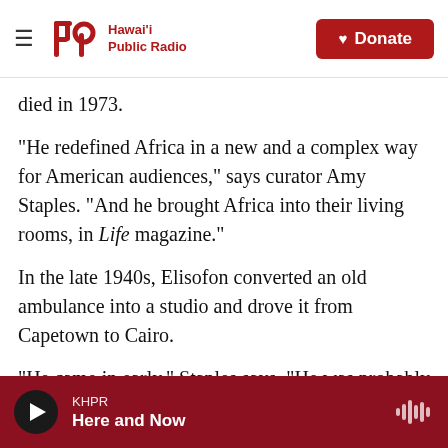Hawai'i Public Radio — Donate
died in 1973.
"He redefined Africa in a new and a complex way for American audiences," says curator Amy Staples. "And he brought Africa into their living rooms, in Life magazine."
In the late 1940s, Elisofon converted an old ambulance into a studio and drove it from Capetown to Cairo.
"He came in early," Staples says. "He was probably one of the first photographers to travel extensively in Africa after World War II. But his interest in the
KHPR — Here and Now